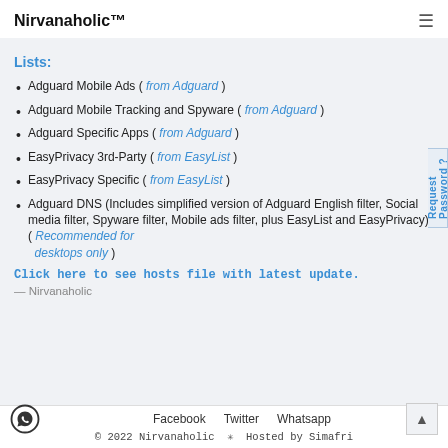Nirvanaholic™
Lists:
Adguard Mobile Ads ( from Adguard )
Adguard Mobile Tracking and Spyware ( from Adguard )
Adguard Specific Apps ( from Adguard )
EasyPrivacy 3rd-Party ( from EasyList )
EasyPrivacy Specific ( from EasyList )
Adguard DNS (Includes simplified version of Adguard English filter, Social media filter, Spyware filter, Mobile ads filter, plus EasyList and EasyPrivacy) ( Recommended for desktops only )
Click here to see hosts file with latest update.
— Nirvanaholic
Facebook   Twitter   Whatsapp
© 2022 Nirvanaholic ✳ Hosted by Simafri